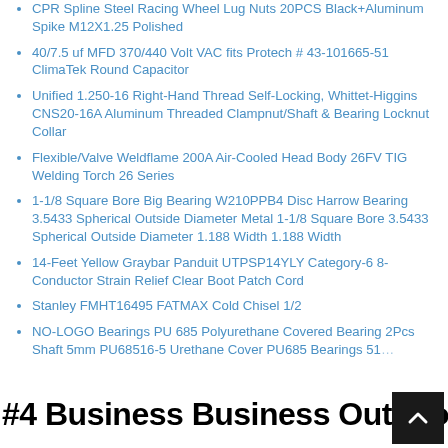CPR Spline Steel Racing Wheel Lug Nuts 20PCS Black+Aluminum Spike M12X1.25 Polished
40/7.5 uf MFD 370/440 Volt VAC fits Protech # 43-101665-51 ClimaTek Round Capacitor
Unified 1.250-16 Right-Hand Thread Self-Locking, Whittet-Higgins CNS20-16A Aluminum Threaded Clampnut/Shaft & Bearing Locknut Collar
Flexible/Valve Weldflame 200A Air-Cooled Head Body 26FV TIG Welding Torch 26 Series
1-1/8 Square Bore Big Bearing W210PPB4 Disc Harrow Bearing 3.5433 Spherical Outside Diameter Metal 1-1/8 Square Bore 3.5433 Spherical Outside Diameter 1.188 Width 1.188 Width
14-Feet Yellow Graybar Panduit UTPSP14YLY Category-6 8-Conductor Strain Relief Clear Boot Patch Cord
Stanley FMHT16495 FATMAX Cold Chisel 1/2
NO-LOGO Bearings PU 685 Polyurethane Covered Bearing 2Pcs Shaft 5mm PU68516-5 Urethane Cover PU685 Bearings 51...
#4 Business Business Outdoor Store